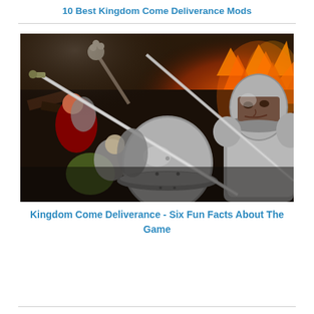10 Best Kingdom Come Deliverance Mods
[Figure (photo): Medieval battle scene from Kingdom Come Deliverance video game showing armored knights fighting, with fire and chaos in the background]
Kingdom Come Deliverance - Six Fun Facts About The Game